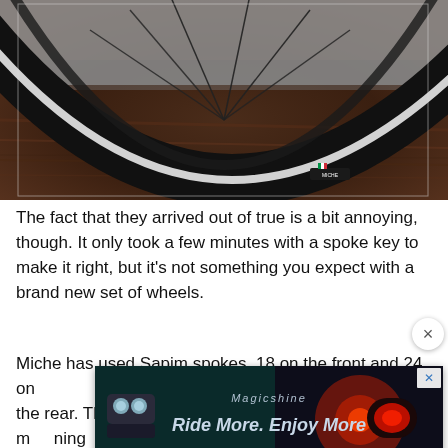[Figure (photo): Close-up photo of a bicycle wheel rim (carbon fiber) against a wooden background, showing spokes and rim detail. The wheel rim appears to be a Miche brand carbon wheelset.]
The fact that they arrived out of true is a bit annoying, though. It only took a few minutes with a spoke key to make it right, but it's not something you expect with a brand new set of wheels.
Miche has used Sapim spokes, 18 on the front and 24 on the rear. These are attached through drilled holes, meaning that they require rim tape or a strip. Miche includes strips get on w them every
[Figure (advertisement): Magicshine advertisement overlay showing bike lights with text 'Ride More. Enjoy More' with an X close button.]